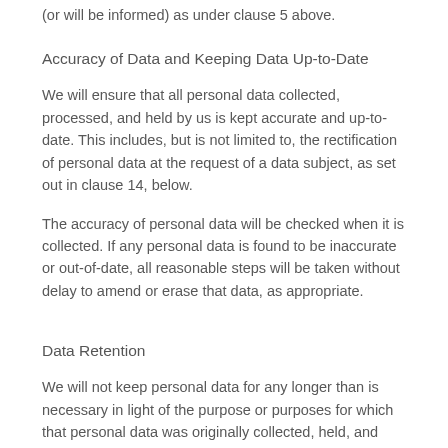(or will be informed) as under clause 5 above.
Accuracy of Data and Keeping Data Up-to-Date
We will ensure that all personal data collected, processed, and held by us is kept accurate and up-to-date. This includes, but is not limited to, the rectification of personal data at the request of a data subject, as set out in clause 14, below.
The accuracy of personal data will be checked when it is collected. If any personal data is found to be inaccurate or out-of-date, all reasonable steps will be taken without delay to amend or erase that data, as appropriate.
Data Retention
We will not keep personal data for any longer than is necessary in light of the purpose or purposes for which that personal data was originally collected, held, and